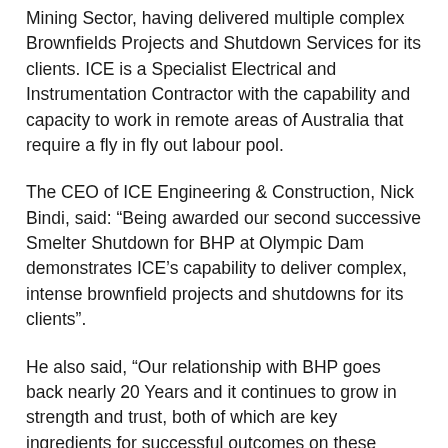Mining Sector, having delivered multiple complex Brownfields Projects and Shutdown Services for its clients. ICE is a Specialist Electrical and Instrumentation Contractor with the capability and capacity to work in remote areas of Australia that require a fly in fly out labour pool.
The CEO of ICE Engineering & Construction, Nick Bindi, said: “Being awarded our second successive Smelter Shutdown for BHP at Olympic Dam demonstrates ICE’s capability to deliver complex, intense brownfield projects and shutdowns for its clients”.
He also said, “Our relationship with BHP goes back nearly 20 Years and it continues to grow in strength and trust, both of which are key ingredients for successful outcomes on these types of shutdowns”.